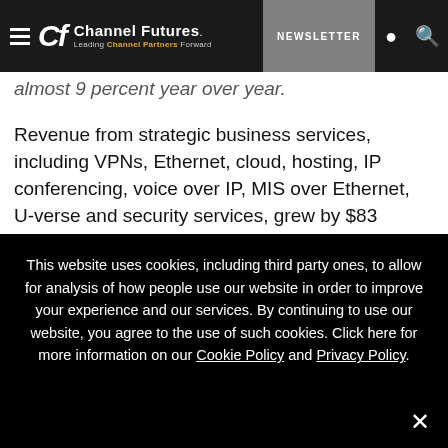Channel Futures — Leading Channel Partners Forward | NEWSLETTER
almost 9 percent year over year.
Revenue from strategic business services, including VPNs, Ethernet, cloud, hosting, IP conferencing, voice over IP, MIS over Ethernet, U-verse and security services, grew by $83 million, or 3 percent, versus the year-earlier quarter. These services represent an annualized revenue stream of more than $12 billion.
This website uses cookies, including third party ones, to allow for analysis of how people use our website in order to improve your experience and our services. By continuing to use our website, you agree to the use of such cookies. Click here for more information on our Cookie Policy and Privacy Policy.